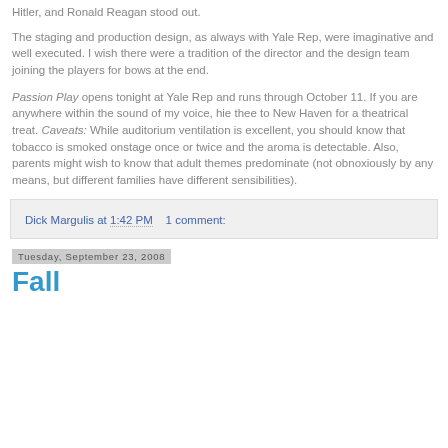Hitler, and Ronald Reagan stood out.
The staging and production design, as always with Yale Rep, were imaginative and well executed. I wish there were a tradition of the director and the design team joining the players for bows at the end.
Passion Play opens tonight at Yale Rep and runs through October 11. If you are anywhere within the sound of my voice, hie thee to New Haven for a theatrical treat. Caveats: While auditorium ventilation is excellent, you should know that tobacco is smoked onstage once or twice and the aroma is detectable. Also, parents might wish to know that adult themes predominate (not obnoxiously by any means, but different families have different sensibilities).
Dick Margulis at 1:42 PM    1 comment:
Tuesday, September 23, 2008
Fall